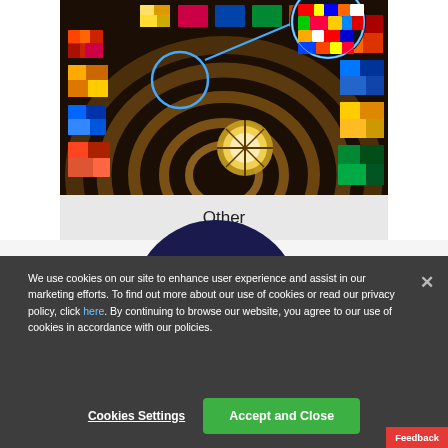[Figure (photo): Spiral stained glass ceiling photograph with a circular zoom annotation showing colorful glass detail from a church or cathedral. A blue circle highlights a section and a line points to a magnified inset in the upper right corner.]
Other
We use cookies on our site to enhance user experience and assist in our marketing efforts. To find out more about our use of cookies or read our privacy policy, click here. By continuing to browse our website, you agree to our use of cookies in accordance with our policies.
Cookies Settings
Accept and Close
Feedback